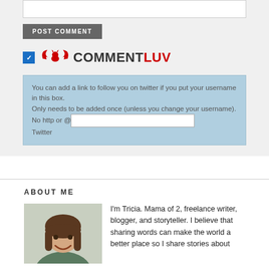[Figure (screenshot): Comment text input box (white rectangle)]
POST COMMENT
[Figure (logo): CommentLuv logo with red phoenix bird wings and text COMMENTLUV with a blue checkbox]
You can add a link to follow you on twitter if you put your username in this box. Only needs to be added once (unless you change your username). No http or @ Twitter
ABOUT ME
[Figure (photo): Photo of Tricia, a woman with brown hair and bangs, smiling]
I'm Tricia. Mama of 2, freelance writer, blogger, and storyteller. I believe that sharing words can make the world a better place so I share stories about